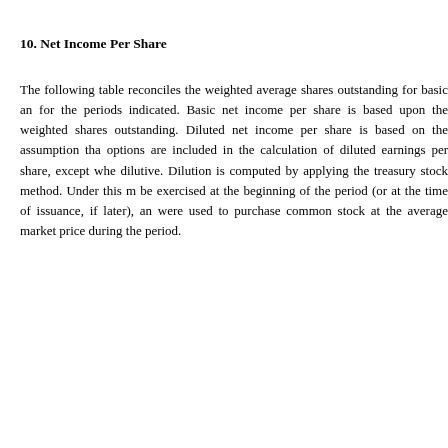10. Net Income Per Share
The following table reconciles the weighted average shares outstanding for basic and diluted net income per share for the periods indicated. Basic net income per share is based upon the weighted average number of common shares outstanding. Diluted net income per share is based on the assumption that all dilutive stock options are included in the calculation of diluted earnings per share, except when their effect would be anti-dilutive. Dilution is computed by applying the treasury stock method. Under this method, options are assumed to be exercised at the beginning of the period (or at the time of issuance, if later), and as if funds obtained thereby were used to purchase common stock at the average market price during the period.